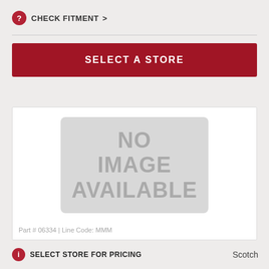CHECK FITMENT >
[Figure (screenshot): Red button labeled SELECT A STORE]
[Figure (photo): Product image placeholder showing NO IMAGE AVAILABLE on grey background]
Part # 06334 | Line Code: MMM
SELECT STORE FOR PRICING
Scotch